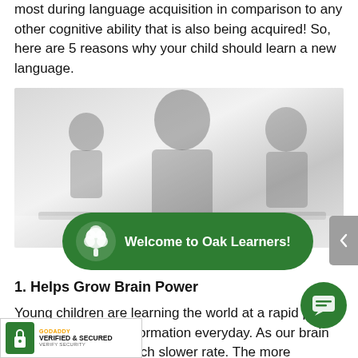most during language acquisition in comparison to any other cognitive ability that is also being acquired! So, here are 5 reasons why your child should learn a new language.
[Figure (photo): Faded/washed-out photo of children in a classroom setting, appearing to study or read at desks]
[Figure (logo): Green rounded pill-shaped chat banner with tree icon and text 'Welcome to Oak Learners!']
1. Helps Grow Brain Power
Young children are learning the world at a rapid pace and taking in new information everyday. As our brain learns things at a much slower rate. The more information a child receives at a